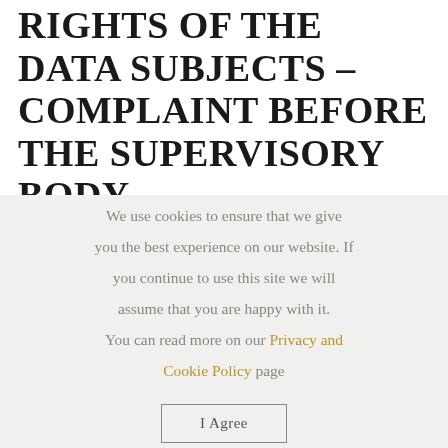RIGHTS OF THE DATA SUBJECTS – COMPLAINT BEFORE THE SUPERVISORY BODY
By contacting the Company, by email to ilborro@ilborro.it, the data subjects can request
We use cookies to ensure that we give you the best experience on our website. If you continue to use this site we will assume that you are happy with it. You can read more on our Privacy and Cookie Policy page
I Agree